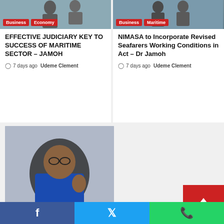[Figure (photo): News card with Business and Economy tags - image of people in formal setting]
EFFECTIVE JUDICIARY KEY TO SUCCESS OF MARITIME SECTOR – JAMOH
7 days ago  Udeme Clement
[Figure (photo): News card with Business and Maritime tags - image of people in formal setting]
NIMASA to Incorporate Revised Seafarers Working Conditions in Act – Dr Jamoh
7 days ago  Udeme Clement
[Figure (photo): Photo of a man in blue outfit sitting in a chair with Business and Economy tags]
Facebook  Twitter  WhatsApp